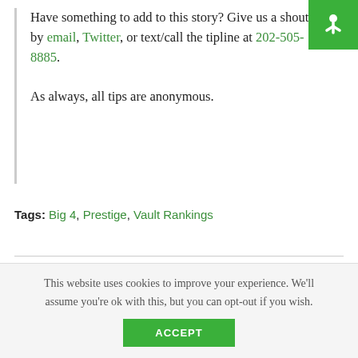Have something to add to this story? Give us a shout by email, Twitter, or text/call the tipline at 202-505-8885. As always, all tips are anonymous.
Tags: Big 4, Prestige, Vault Rankings
Related articles
This website uses cookies to improve your experience. We'll assume you're ok with this, but you can opt-out if you wish.